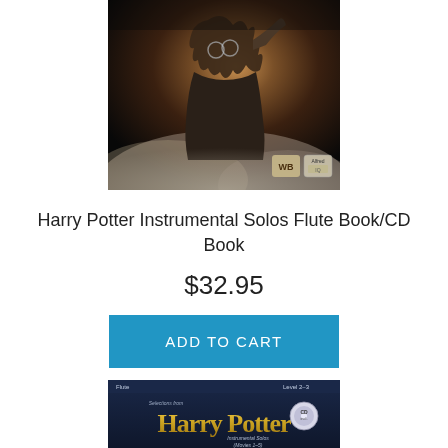[Figure (photo): Harry Potter movie promotional image showing Harry Potter in action pose with raised arm, wearing glasses and dark jacket, with smoky background and WB/Alfred logos in bottom right corner]
Harry Potter Instrumental Solos Flute Book/CD Book
$32.95
ADD TO CART
[Figure (photo): Harry Potter Instrumental Solos (Movies 1-5) book cover showing Harry Potter title logo in gold letters, CD badge, labeled 'Flute Level 2-3', with dark blue and black background, showing two book covers at bottom]